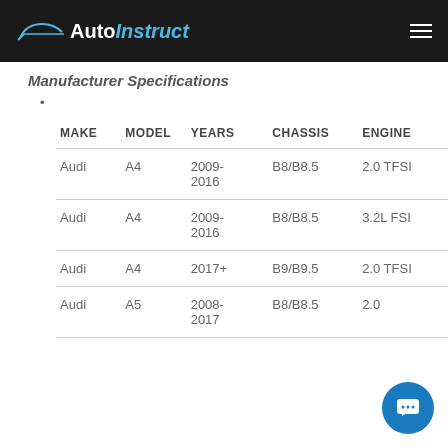AutoInstruct
Manufacturer Specifications
•
| MAKE | MODEL | YEARS | CHASSIS | ENGINE |
| --- | --- | --- | --- | --- |
| Audi | A4 | 2009-2016 | B8/B8.5 | 2.0 TFSI |
| Audi | A4 | 2009-2016 | B8/B8.5 | 3.2L FSI |
| Audi | A4 | 2017+ | B9/B9.5 | 2.0 TFSI |
| Audi | A5 | 2008-2017 | B8/B8.5 | 2.0... |